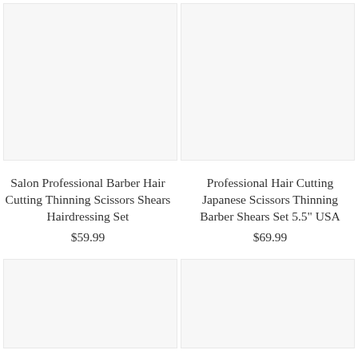[Figure (photo): Product image placeholder – left top, light gray background]
[Figure (photo): Product image placeholder – right top, light gray background]
Salon Professional Barber Hair Cutting Thinning Scissors Shears Hairdressing Set
$59.99
Professional Hair Cutting Japanese Scissors Thinning Barber Shears Set 5.5" USA
$69.99
[Figure (photo): Product image placeholder – left bottom, light gray background]
[Figure (photo): Product image placeholder – right bottom, light gray background]